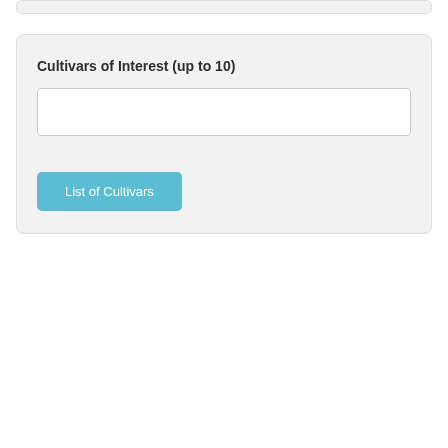Cultivars of Interest (up to 10)
List of Cultivars